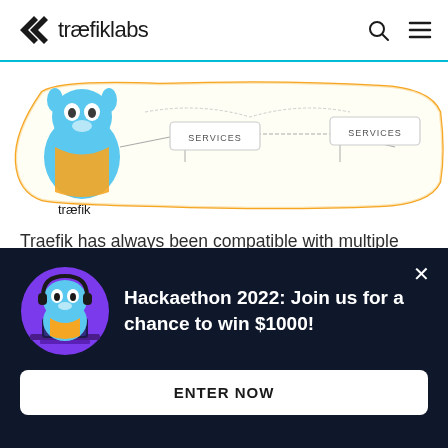traefiklabs
[Figure (illustration): Traefik network diagram showing a mascot character (blue gopher with orange vest) on the left, and two boxes labeled 'SERVICES' connected by network lines, with an orange border around the diagram. The word 'traefik' appears below the mascot.]
Traefik has always been compatible with multiple providers, which is one of its greater strengths: whatever your infrastructure is, from bare metal to orchestrators and clusters, Traefik just works!
Hackaethon 2022: Join us for a chance to win $1000!
ENTER NOW